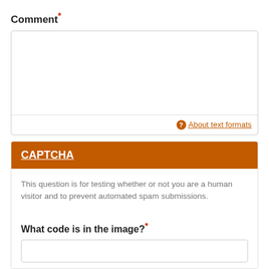Comment*
[Figure (screenshot): Comment textarea input field with resize handle]
About text formats
CAPTCHA
This question is for testing whether or not you are a human visitor and to prevent automated spam submissions.
What code is in the image?*
[Figure (screenshot): Text input field for image code entry]